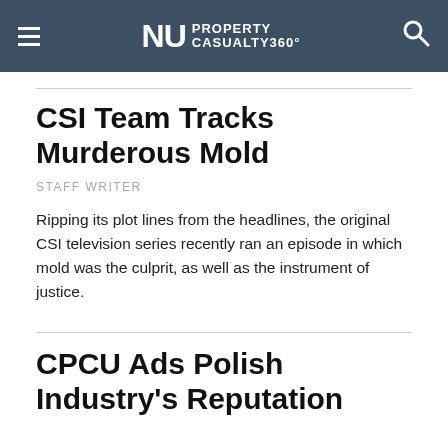NU PROPERTY CASUALTY360°
CSI Team Tracks Murderous Mold
STAFF WRITER
Ripping its plot lines from the headlines, the original CSI television series recently ran an episode in which mold was the culprit, as well as the instrument of justice.
CPCU Ads Polish Industry's Reputation